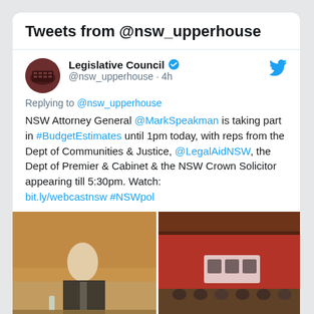Tweets from @nsw_upperhouse
Legislative Council @nsw_upperhouse · 4h
Replying to @nsw_upperhouse
NSW Attorney General @MarkSpeakman is taking part in #BudgetEstimates until 1pm today, with reps from the Dept of Communities & Justice, @LegalAidNSW, the Dept of Premier & Cabinet & the NSW Crown Solicitor appearing till 5:30pm. Watch: bit.ly/webcastnsw #NSWpol
[Figure (photo): Left: man in suit at hearing table; Right: parliamentary chamber with red background]